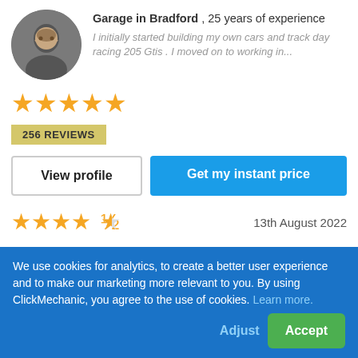[Figure (photo): Circular profile photo of a smiling man wearing dark clothing]
Garage in Bradford , 25 years of experience
I initially started building my own cars and track day racing 205 Gtis . I moved on to working in...
[Figure (other): 5 gold stars rating]
256 REVIEWS
View profile
Get my instant price
[Figure (other): 4.5 gold stars rating]
13th August 2022
"The work was great he was very friendly and talked me through what he was going to do"
KEITH
Ssangyong Tivoli • Brake pads replacement - front (all)
We use cookies for analytics, to create a better user experience and to make our marketing more relevant to you. By using ClickMechanic, you agree to the use of cookies. Learn more.
Adjust
Accept